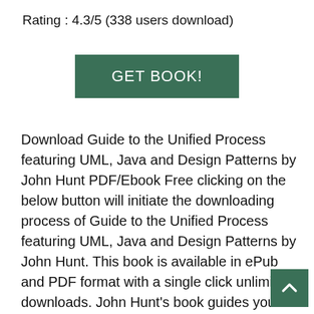Rating : 4.3/5 (338 users download)
[Figure (other): Green 'GET BOOK!' button]
Download Guide to the Unified Process featuring UML, Java and Design Patterns by John Hunt PDF/Ebook Free clicking on the below button will initiate the downloading process of Guide to the Unified Process featuring UML, Java and Design Patterns by John Hunt. This book is available in ePub and PDF format with a single click unlimited downloads. John Hunt's book guides you through the use of the UML and the Unified Process and their application to Java systems. Key topics focus explicitly on applying the notation and the method to Java. The book is clearly structured and written, making it ideal for practitioners. This second edition is considerably revi and extended and includes examples taken from the latest